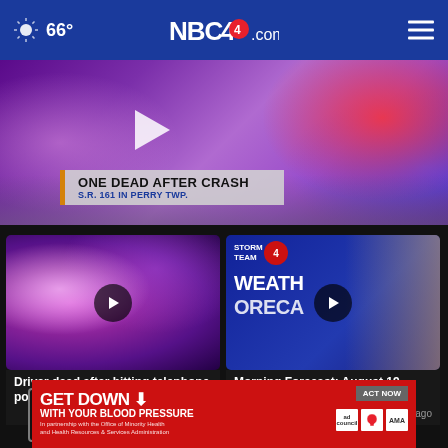66° NBC4i.com
[Figure (screenshot): Hero news video thumbnail showing police lights with banner 'ONE DEAD AFTER CRASH - S.R. 161 IN PERRY TWP.']
ONE DEAD AFTER CRASH
S.R. 161 IN PERRY TWP.
[Figure (screenshot): Video card: Driver dead after hitting telephone pole... - 1 hour ago]
Driver dead after hitting telephone pole...
1 hour ago
[Figure (screenshot): Video card: Morning Forecast: August 19, 2022 - 3 hours ago]
Morning Forecast: August 19, 2022
3 hours ago
[Figure (screenshot): Third video card partially visible: 11 p.m. August...]
11 p.m.
Augus...
More Videos ›
[Figure (screenshot): Advertisement banner: GET DOWN WITH YOUR BLOOD PRESSURE - ACT NOW - In partnership with Office of Minority Health and Health Resources & Services Administration]